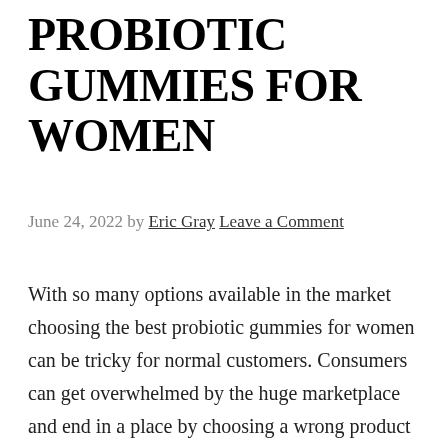PROBIOTIC GUMMIES FOR WOMEN
June 24, 2022 by Eric Gray Leave a Comment
With so many options available in the market choosing the best probiotic gummies for women can be tricky for normal customers. Consumers can get overwhelmed by the huge marketplace and end in a place by choosing a wrong product that will not serve